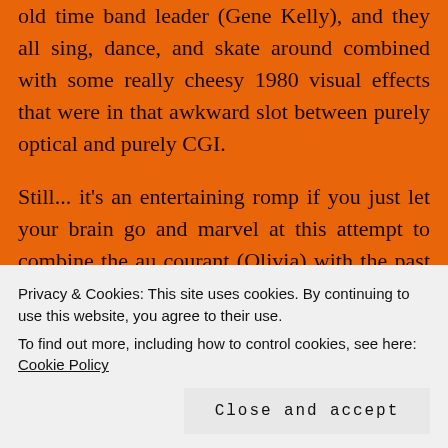old time band leader (Gene Kelly), and they all sing, dance, and skate around combined with some really cheesy 1980 visual effects that were in that awkward slot between purely optical and purely CGI.

Still... it's an entertaining romp if you just let your brain go and marvel at this attempt to combine the au courant (Olivia) with the past (Kelly), and an even further past (the Pan Pacific Theater, which was another character,
Privacy & Cookies: This site uses cookies. By continuing to use this website, you agree to their use.
To find out more, including how to control cookies, see here: Cookie Policy
Close and accept